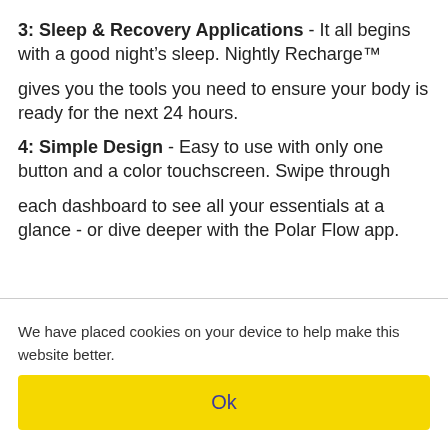3: Sleep & Recovery Applications - It all begins with a good night's sleep. Nightly Recharge™ gives you the tools you need to ensure your body is ready for the next 24 hours.
4: Simple Design - Easy to use with only one button and a color touchscreen. Swipe through each dashboard to see all your essentials at a glance - or dive deeper with the Polar Flow app.
We have placed cookies on your device to help make this website better.
Ok